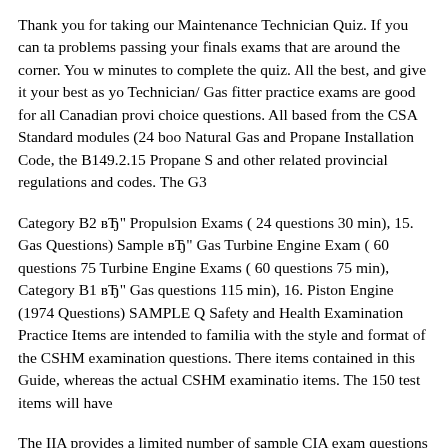Thank you for taking our Maintenance Technician Quiz. If you can ta problems passing your finals exams that are around the corner. You w minutes to complete the quiz. All the best, and give it your best as yo Technician/ Gas fitter practice exams are good for all Canadian provi choice questions. All based from the CSA Standard modules (24 boo Natural Gas and Propane Installation Code, the B149.2.15 Propane S and other related provincial regulations and codes. The G3
Category B2 вЂ" Propulsion Exams ( 24 questions 30 min), 15. Gas Questions) Sample вЂ" Gas Turbine Engine Exam ( 60 questions 75 Turbine Engine Exams ( 60 questions 75 min), Category B1 вЂ" Gas questions 115 min), 16. Piston Engine (1974 Questions) SAMPLE Q Safety and Health Examination Practice Items are intended to familia with the style and format of the CSHM examination questions. There items contained in this Guide, whereas the actual CSHM examinatio items. The 150 test items will have
The IIA provides a limited number of sample CIA exam questions (w